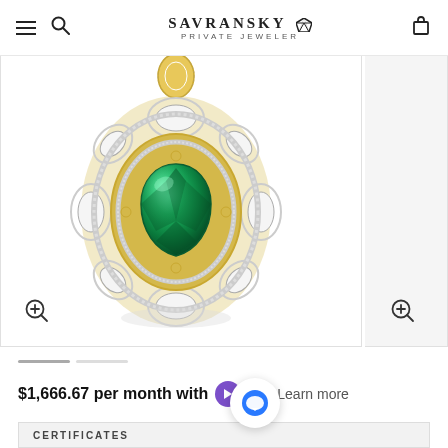SAVRANSKY PRIVATE JEWELER
[Figure (photo): Luxury emerald and diamond pendant necklace with gold and white gold setting, featuring a large pear-shaped green emerald center stone surrounded by diamond halo and ornate floral-style frame with open scroll work, displayed on white background]
$1,666.67 per month with Splitit Learn more
CERTIFICATES